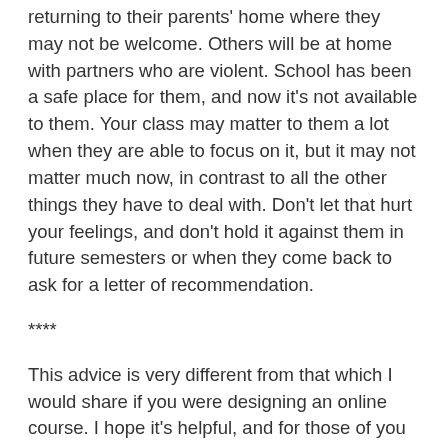returning to their parents' home where they may not be welcome. Others will be at home with partners who are violent. School has been a safe place for them, and now it's not available to them. Your class may matter to them a lot when they are able to focus on it, but it may not matter much now, in contrast to all the other things they have to deal with. Don't let that hurt your feelings, and don't hold it against them in future semesters or when they come back to ask for a letter of recommendation.
****
This advice is very different from that which I would share if you were designing an online course. I hope it's helpful, and for those of you moving your courses online, I hope it helps you understand the labor that is required in building an online course a bit better.